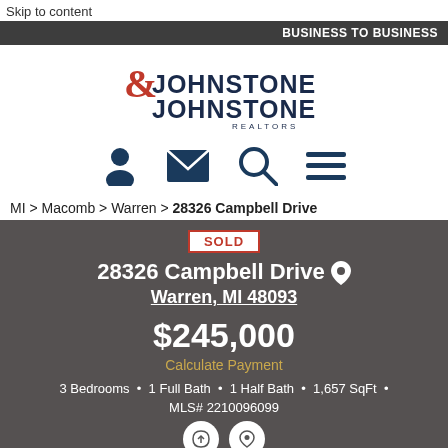Skip to content
BUSINESS TO BUSINESS
[Figure (logo): Johnstone & Johnstone Realtors logo — red ampersand with black text]
[Figure (infographic): Navigation icons: person/account, envelope/mail, search/magnifier, hamburger menu]
MI > Macomb > Warren > 28326 Campbell Drive
SOLD
28326 Campbell Drive
Warren, MI 48093
$245,000
Calculate Payment
3 Bedrooms  •  1 Full Bath  •  1 Half Bath  •  1,657 SqFt  •
MLS# 2210096099